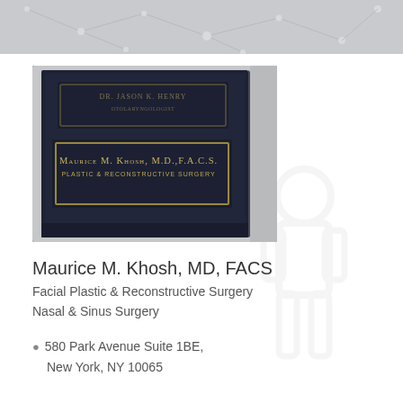[Figure (photo): Close-up photo of a professional name plaque reading 'Maurice M. Khosh, M.D., F.A.C.S. Plastic & Reconstructive Surgery' mounted on a wall, dark blue/navy background with gold lettering and border]
Maurice M. Khosh, MD, FACS
Facial Plastic & Reconstructive Surgery
Nasal & Sinus Surgery
580 Park Avenue Suite 1BE, New York, NY 10065